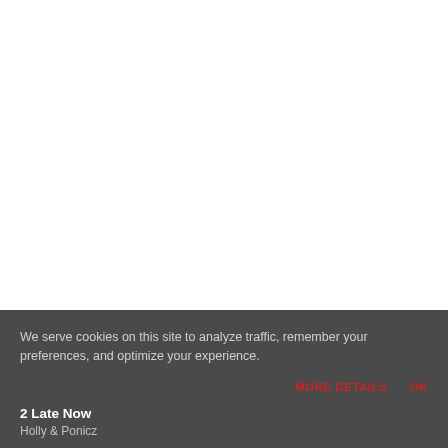[Figure (screenshot): White blank area representing a webpage content area above the cookie banner]
We serve cookies on this site to analyze traffic, remember your preferences, and optimize your experience.
MORE DETAILS   OK
2 Late Now
Holly & Ponicz